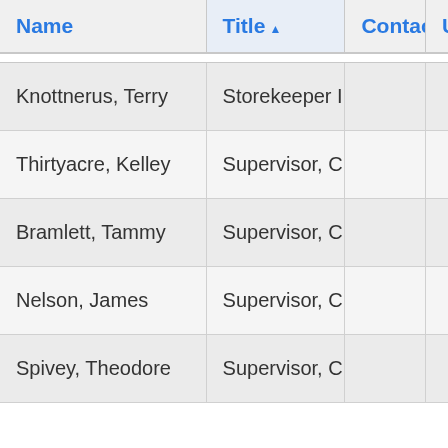| Name | Title | Contact | Unit |
| --- | --- | --- | --- |
| Knottnerus, Terry | Storekeeper Iii |  |  |
| Thirtyacre, Kelley | Supervisor, Cust |  |  |
| Bramlett, Tammy | Supervisor, Cust |  |  |
| Nelson, James | Supervisor, Cust |  |  |
| Spivey, Theodore | Supervisor, Cust |  |  |